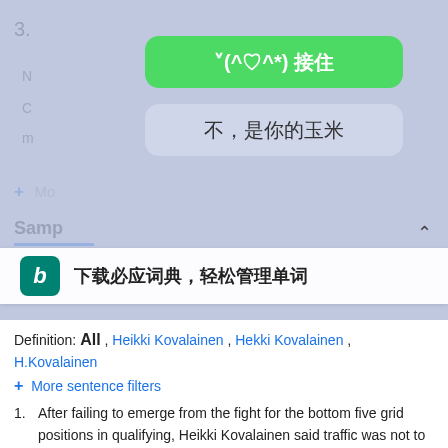3.
[Figure (screenshot): Mobile overlay dialog with green button '˅(^♡^*) 接住' and gray button '不，是你的玉米', and Bing dictionary banner '下载必应词典，轻松管理单词']
Definition: All , Heikki Kovalainen , Hekki Kovalainen , H.Kovalainen
+ More sentence filters
1. After failing to emerge from the fight for the bottom five grid positions in qualifying, Heikki Kovalainen said traffic was not to blame.
shī bài hòu de dòu zhēng zhōng chū xiàn de dǐ bù wǔ fā chē wèi zhǐ de pái wèi sài , kē wǎ lái níng shuō , jiāo tōng shì bù néng zé guài □
usa.315che.com
2. The McLarens also did not shine, and Heikki Kovalainen -